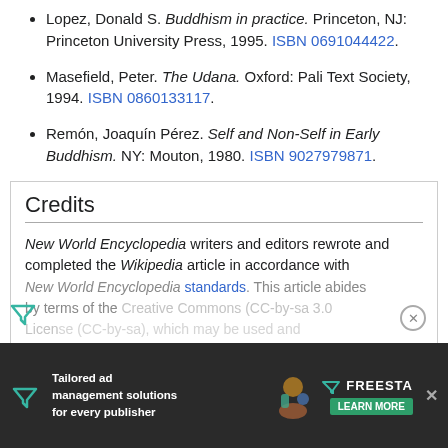Lopez, Donald S. Buddhism in practice. Princeton, NJ: Princeton University Press, 1995. ISBN 0691044422.
Masefield, Peter. The Udana. Oxford: Pali Text Society, 1994. ISBN 0860133117.
Remón, Joaquín Pérez. Self and Non-Self in Early Buddhism. NY: Mouton, 1980. ISBN 9027979871.
Credits
New World Encyclopedia writers and editors rewrote and completed the Wikipedia article in accordance with New World Encyclopedia standards. This article abides by terms of the Creative Commons CC-by-sa 3.0 License (CC-by-sa), which may be used and disseminated with proper attribution. Credit is due under the terms of this license that can reference both the New World Encyclopedia contributors and the selfless volunteer contributors of the Wikimedia Foundation.